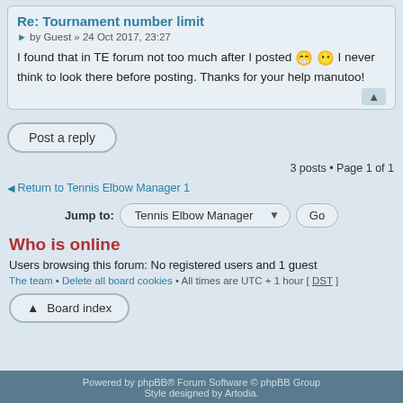Re: Tournament number limit
by Guest » 24 Oct 2017, 23:27
I found that in TE forum not too much after I posted 😁 😶 I never think to look there before posting. Thanks for your help manutoo!
Post a reply
3 posts • Page 1 of 1
Return to Tennis Elbow Manager 1
Jump to: Tennis Elbow Manager  Go
Who is online
Users browsing this forum: No registered users and 1 guest
The team • Delete all board cookies • All times are UTC + 1 hour [ DST ]
Board index
Powered by phpBB® Forum Software © phpBB Group
Style designed by Artodia.